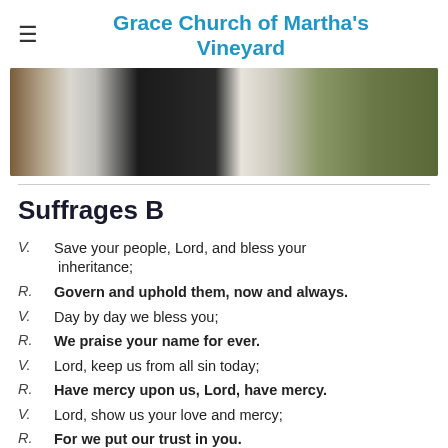Grace Church of Martha's Vineyard
[Figure (photo): Photo of a person in clergy robes standing at an altar with green vestments and a gold candlestick]
Suffrages B
V. Save your people, Lord, and bless your inheritance;
R. Govern and uphold them, now and always.
V. Day by day we bless you;
R. We praise your name for ever.
V. Lord, keep us from all sin today;
R. Have mercy upon us, Lord, have mercy.
V. Lord, show us your love and mercy;
R. For we put our trust in you.
V. In you, Lord, is our hope;
R. And we shall never hope in vain.